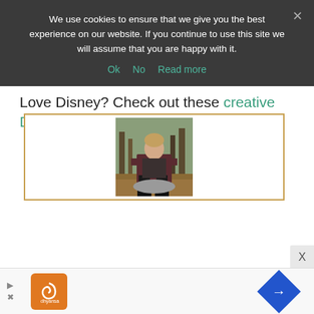We use cookies to ensure that we give you the best experience on our website. If you continue to use this site we will assume that you are happy with it.
Ok   No   Read more
Love Disney? Check out these creative Disney books.
Fun sleepover games
[Figure (photo): Woman sitting on a rock in a wooded area, wearing dark clothing]
[Figure (advertisement): Advertisement bar with orange icon and blue navigation icon]